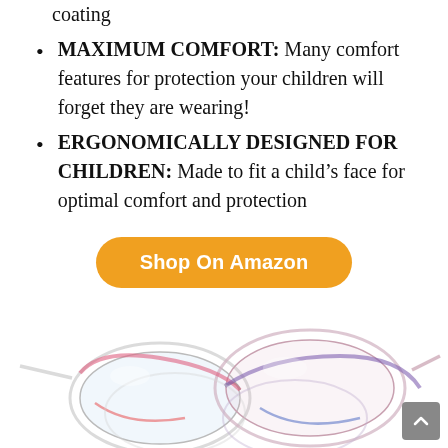coating
MAXIMUM COMFORT: Many comfort features for protection your children will forget they are wearing!
ERGONOMICALLY DESIGNED FOR CHILDREN: Made to fit a child’s face for optimal comfort and protection
[Figure (other): Orange rounded button reading 'Shop On Amazon']
4. ANSI Z87.1 EN166 CERTIFIED KIDS SAFETY GLASSES
[Figure (photo): Photo of colorful children's safety glasses, multiple pairs overlapping, seen from above at an angle]